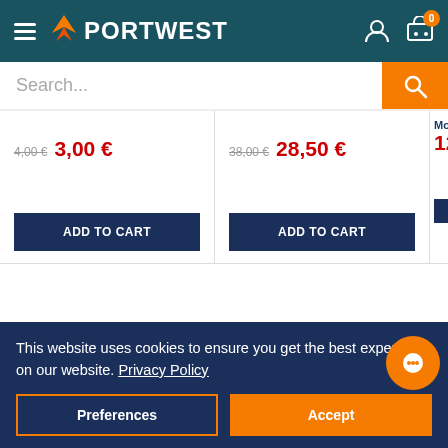[Figure (screenshot): Portwest website header with hamburger menu, Portwest logo, user account icon, and shopping cart icon with badge showing 0]
[Figure (screenshot): Search bar with placeholder text 'Search...' and orange search button]
4,00 € 3,00 €
38,00 € 28,50 €
Mosq 12,0
ADD TO CART
ADD TO CART
This website uses cookies to ensure you get the best experience on our website. Privacy Policy
Preferences
Accept